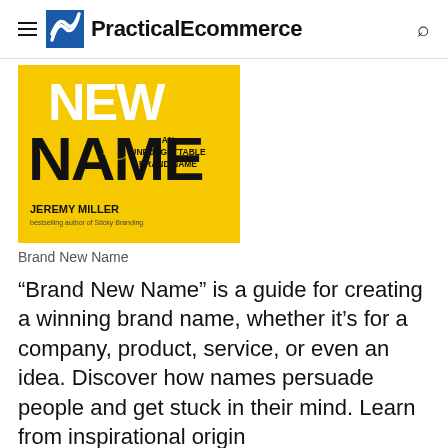PracticalEcommerce
[Figure (photo): Book cover of 'Brand New Name' by Jeremy Miller. Yellow background with large bold black text reading NEW NAME, and subtitle AN UNFORGETTABLE BRAND NAME. Author name JEREMY MILLER at the bottom.]
Brand New Name
“Brand New Name” is a guide for creating a winning brand name, whether it’s for a company, product, service, or even an idea. Discover how names persuade people and get stuck in their mind. Learn from inspirational origin